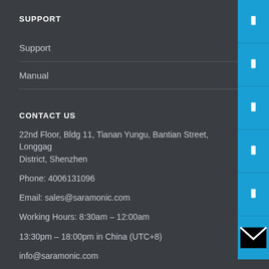SUPPORT
Support
Manual
CONTACT US
22nd Floor, Bldg 11, Tianan Yungu, Bantian Street, Longgang District, Shenzhen
Phone: 4006131096
Email: sales@saramonic.com
Working Hours: 8:30am – 12:00am
13:30pm – 18:00pm in China (UTC+8)
info@saramonic.com